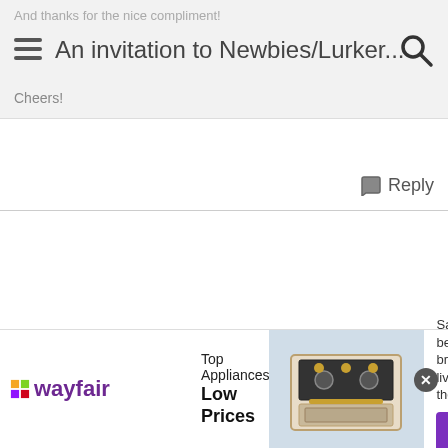And thanks for the nice compliment!
An invitation to Newbies/Lurker...
Cheers!
Reply
[Figure (screenshot): Wayfair advertisement banner showing logo, Top Appliances Low Prices text, stove image, and Shop now button]